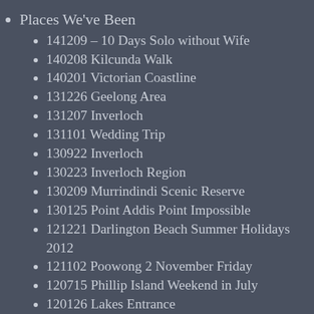Places We've Been
141209 – 10 Days Solo without Wife
140208 Kilcunda Walk
140201 Victorian Coastline
131226 Geelong Area
131207 Inverloch
131101 Wedding Trip
130922 Inverloch
130223 Inverloch Region
130209 Murrindindi Scenic Reserve
130125 Point Addis Point Impossible
121221 Darlington Beach Summer Holidays 2012
121102 Poowong 2 November Friday
120715 Phillip Island Weekend in July
120126 Lakes Entrance